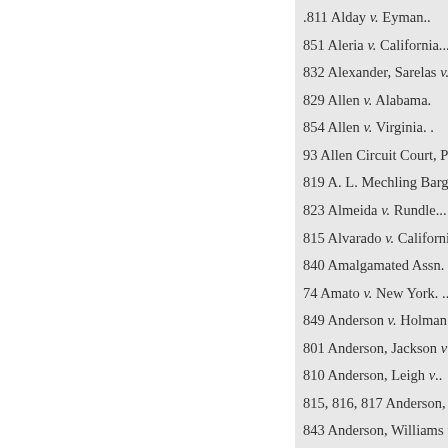.811 Alday v. Eyman..
851 Aleria v. California....
832 Alexander, Sarelas v.
829 Allen v. Alabama.
854 Allen v. Virginia. .
93 Allen Circuit Court, Peters
819 A. L. Mechling Barge Lin
823 Almeida v. Rundle...
815 Alvarado v. California.....
840 Amalgamated Assn. of Str
74 Amato v. New York. ...
849 Anderson v. Holman.
801 Anderson, Jackson v...
810 Anderson, Leigh v..
815, 816, 817 Anderson, Whit
843 Anderson, Williams v..
821 Angelet v. New York: ...